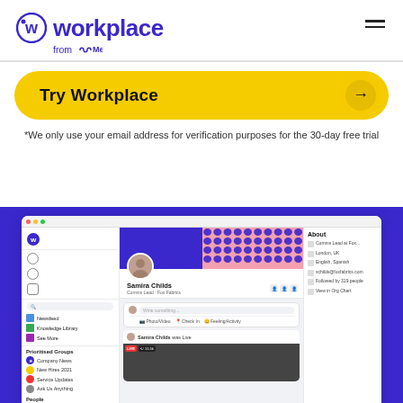[Figure (logo): Workplace from Meta logo — circular W icon in blue-purple, text 'workplace' in bold blue-purple, 'from Meta' below in smaller text with Meta infinity icon]
*We only use your email address for verification purposes for the 30-day free trial
[Figure (screenshot): Screenshot of Workplace from Meta app interface showing a user profile (Samira Childs, Comms Lead, Fox Fabrics), sidebar navigation with Newsfeed, Knowledge Library, See More, Prioritised Groups (Company News, New Hires 2021, Service Updates, Ask Us Anything), People section, profile header with decorative pattern, write post area, live video post, and About panel]